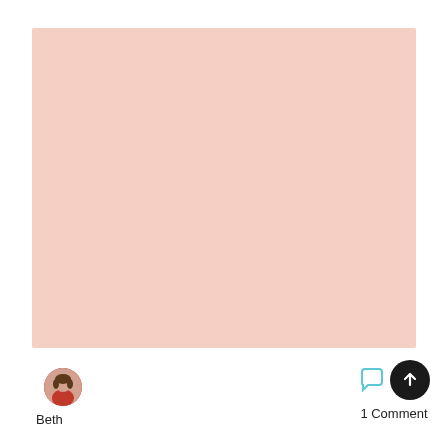[Figure (illustration): A plain light pink/salmon colored rectangle filling most of the upper portion of the page, serving as a blank image or color swatch.]
[Figure (photo): Small circular avatar photo of a person named Beth, wearing a pink/red top, positioned in the lower left area.]
Beth
1 Comment